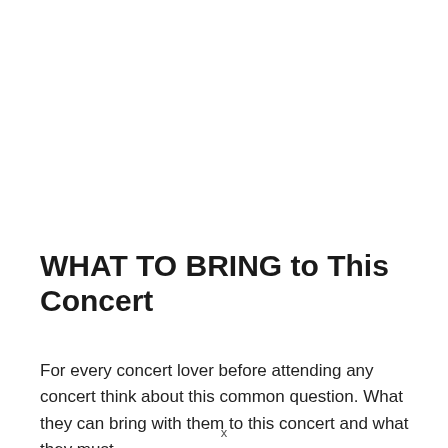WHAT TO BRING to This Concert
For every concert lover before attending any concert think about this common question. What they can bring with them to this concert and what they must
x